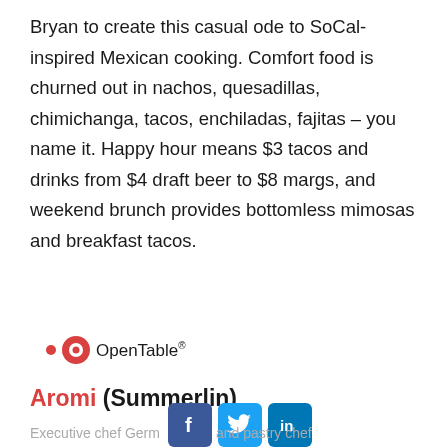Bryan to create this casual ode to SoCal-inspired Mexican cooking. Comfort food is churned out in nachos, quesadillas, chimichanga, tacos, enchiladas, fajitas – you name it. Happy hour means $3 tacos and drinks from $4 draft beer to $8 margs, and weekend brunch provides bottomless mimosas and breakfast tacos.
[Figure (other): Reserve Now button (red rounded rectangle) with OpenTable logo below]
Aromi (Summerlin)
[Figure (other): Social media icons: Facebook, Twitter, LinkedIn]
Executive chef Germ... and pastry chef